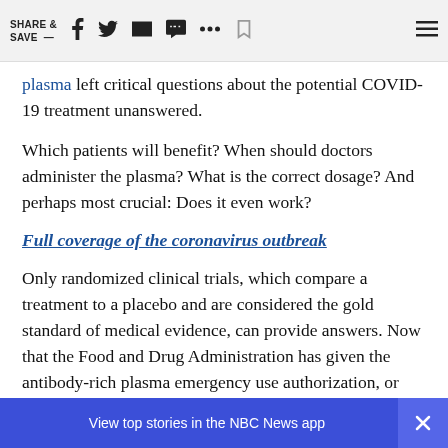SHARE & SAVE —
plasma left critical questions about the potential COVID-19 treatment unanswered.
Which patients will benefit? When should doctors administer the plasma? What is the correct dosage? And perhaps most crucial: Does it even work?
Full coverage of the coronavirus outbreak
Only randomized clinical trials, which compare a treatment to a placebo and are considered the gold standard of medical evidence, can provide answers. Now that the Food and Drug Administration has given the antibody-rich plasma emergency use authorization, or E… ch trials, … p … a?